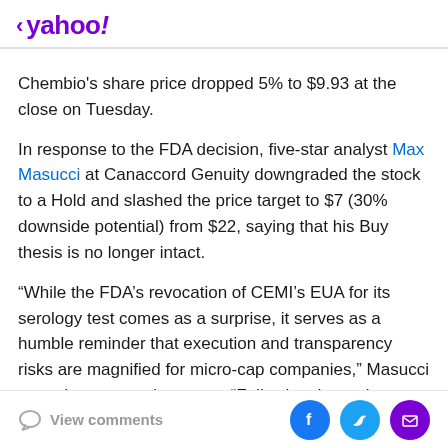< yahoo!
Chembio's share price dropped 5% to $9.93 at the close on Tuesday.
In response to the FDA decision, five-star analyst Max Masucci at Canaccord Genuity downgraded the stock to a Hold and slashed the price target to $7 (30% downside potential) from $22, saying that his Buy thesis is no longer intact.
“While the FDA’s revocation of CEMI’s EUA for its serology test comes as a surprise, it serves as a humble reminder that execution and transparency risks are magnified for micro-cap companies,” Masucci wrote in a note to investors. “Following the update, we materially
View comments